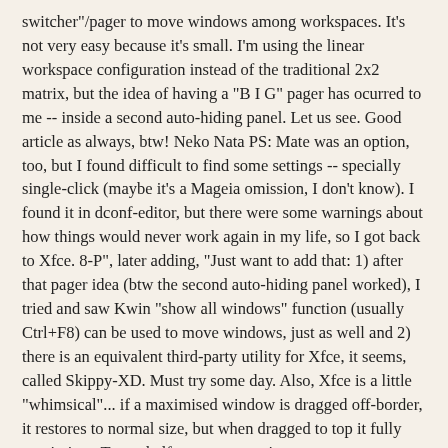switcher"/pager to move windows among workspaces. It's not very easy because it's small. I'm using the linear workspace configuration instead of the traditional 2x2 matrix, but the idea of having a "B I G" pager has ocurred to me -- inside a second auto-hiding panel. Let us see. Good article as always, btw! Neko Nata PS: Mate was an option, too, but I found difficult to find some settings -- specially single-click (maybe it's a Mageia omission, I don't know). I found it in dconf-editor, but there were some warnings about how things would never work again in my life, so I got back to Xfce. 8-P", later adding, "Just want to add that: 1) after that pager idea (btw the second auto-hiding panel worked), I tried and saw Kwin "show all windows" function (usually Ctrl+F8) can be used to move windows, just as well and 2) there is an equivalent third-party utility for Xfce, it seems, called Skippy-XD. Must try some day. Also, Xfce is a little "whimsical"... if a maximised window is dragged off-border, it restores to normal size, but when dragged to top it fully maximises. To get half-screen zoom, it seems necessary to release the window for a brief moment. Finally, I realize you're after all the nifty desktop effects Kwin has; I agree it's beautiful, but I'm just trying the speed of things on my 2GB